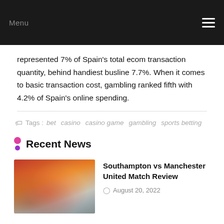Menu
represented 7% of Spain's total ecom transaction quantity, behind handiest busline 7.7%. When it comes to basic transaction cost, gambling ranked fifth with 4.2% of Spain's online spending.
Tags :  bet  casino  casino game  gambling  sports betting
Recent News
[Figure (photo): Sports action photo of football players on a pitch, likely Southampton vs Manchester United]
Southampton vs Manchester United Match Review
August 20, 2022